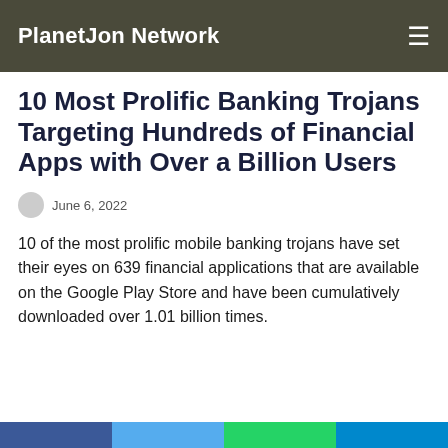PlanetJon Network
10 Most Prolific Banking Trojans Targeting Hundreds of Financial Apps with Over a Billion Users
June 6, 2022
10 of the most prolific mobile banking trojans have set their eyes on 639 financial applications that are available on the Google Play Store and have been cumulatively downloaded over 1.01 billion times.